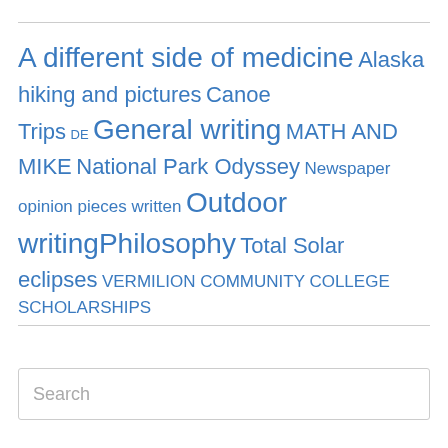A different side of medicine Alaska hiking and pictures Canoe Trips DE General writing MATH AND MIKE National Park Odyssey Newspaper opinion pieces written Outdoor writing Philosophy Total Solar eclipses VERMILION COMMUNITY COLLEGE SCHOLARSHIPS
Search